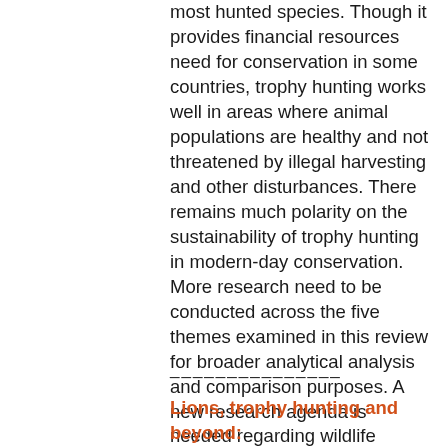most hunted species. Though it provides financial resources need for conservation in some countries, trophy hunting works well in areas where animal populations are healthy and not threatened by illegal harvesting and other disturbances. There remains much polarity on the sustainability of trophy hunting in modern-day conservation. More research need to be conducted across the five themes examined in this review for broader analytical analysis and comparison purposes. A new research agenda is needed regarding wildlife sustainable use principles and their sustainability and acceptability in modern-day conservation.
_______________
Lions, trophy hunting and beyond: knowledge gaps and why they